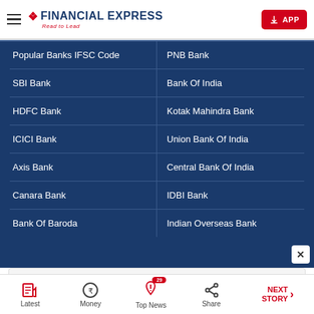Financial Express — Read to Lead
Popular Banks IFSC Code
PNB Bank
SBI Bank
Bank Of India
HDFC Bank
Kotak Mahindra Bank
ICICI Bank
Union Bank Of India
Axis Bank
Central Bank Of India
Canara Bank
IDBI Bank
Bank Of Baroda
Indian Overseas Bank
[Figure (screenshot): ChannelAdvisor advertisement banner with OPEN button]
Latest | Money | Top News (29) | Share | NEXT STORY